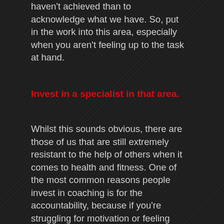haven't achieved than to acknowledge what we have. So, put in the work into this area, especially when you aren't feeling up to the task at hand.
Invest in a specialist in that area.
Whilst this sounds obvious, there are those of us that are still extremely resistant to the help of others when it comes to health and fitness. One of the most common reasons people invest in coaching is for the accountability, because if you're struggling for motivation or feeling accountable to yourself, you've now got someone else to give you that missing drive.
It's not mentioned too frequently by those achieving amazing results, but most journeys don't start smoothly and